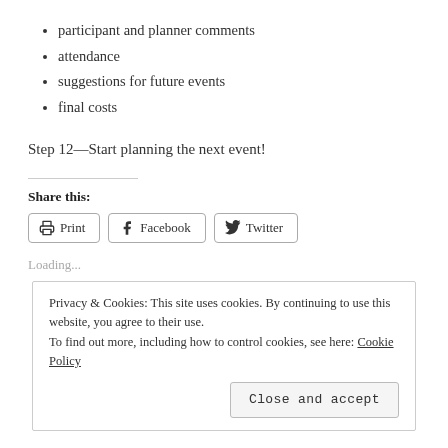participant and planner comments
attendance
suggestions for future events
final costs
Step 12—Start planning the next event!
Share this:
[Figure (other): Share buttons: Print, Facebook, Twitter]
Loading...
Privacy & Cookies: This site uses cookies. By continuing to use this website, you agree to their use. To find out more, including how to control cookies, see here: Cookie Policy
Close and accept